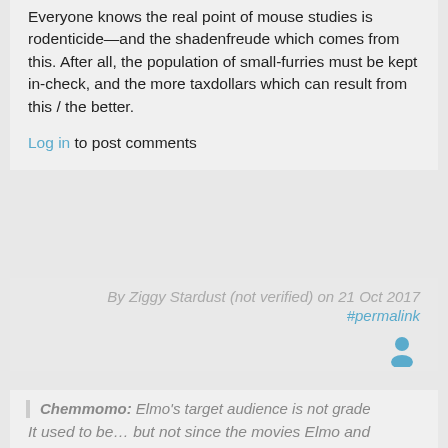Everyone knows the real point of mouse studies is rodenticide—and the shadenfreude which comes from this. After all, the population of small-furries must be kept in-check, and the more taxdollars which can result from this / the better.
Log in to post comments
By Ziggy Stardust (not verified) on 21 Oct 2017 #permalink
[Figure (illustration): User avatar icon in blue/teal color]
Chemmomo: Elmo's target audience is not grade schoolers.
It used to be… but not since the movies Elmo and